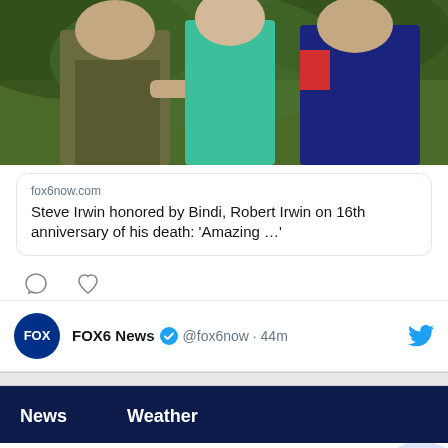[Figure (photo): Partial photo showing people outdoors, one in a green/teal shirt, one in a dark blue jacket with red accent, against green foliage background. Top portion of a tweet card.]
fox6now.com
Steve Irwin honored by Bindi, Robert Irwin on 16th anniversary of his death: 'Amazing …'
[Figure (infographic): Tweet action icons: comment bubble and heart/like icons]
FOX6 News @fox6now · 44m
[Figure (logo): FOX News circular avatar logo with dark blue background and white FOX text]
[Figure (logo): Twitter bird icon in blue]
News
Weather
Explore Our Gifts & More
Personalized Gifts - Spa Baskets - Get Sets
www.1800flowers.com
[Figure (photo): Advertisement photo showing spa gift products including diffuser, bottles and gift sets]